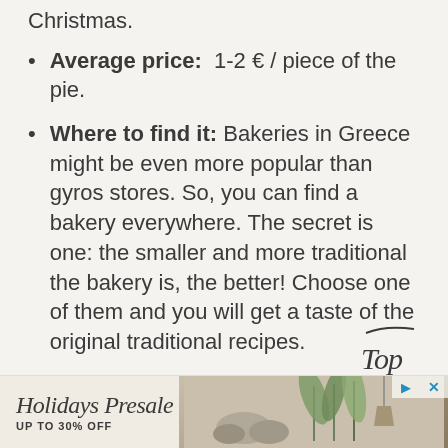Christmas.
Average price: 1-2 € / piece of the pie.
Where to find it: Bakeries in Greece might be even more popular than gyros stores. So, you can find a bakery everywhere. The secret is one: the smaller and more traditional the bakery is, the better! Choose one of them and you will get a taste of the original traditional recipes.
[Figure (illustration): Cursive/script logo reading 'Top' with a decorative line above it]
[Figure (screenshot): Advertisement banner for 'Holidays Presale UP TO 30% OFF' with decorative image of plants and stones on the right, and navigation controls (play, close) on the top right]